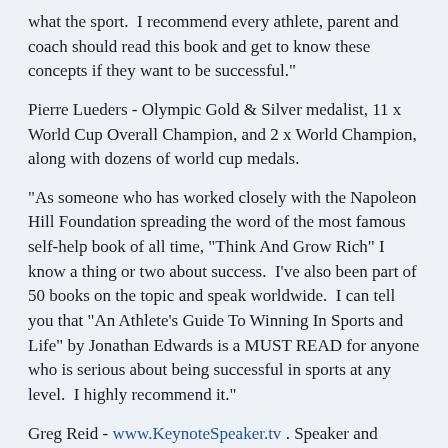what the sport.  I recommend every athlete, parent and coach should read this book and get to know these concepts if they want to be successful."
Pierre Lueders - Olympic Gold & Silver medalist, 11 x World Cup Overall Champion, and 2 x World Champion, along with dozens of world cup medals.
"As someone who has worked closely with the Napoleon Hill Foundation spreading the word of the most famous self-help book of all time, "Think And Grow Rich" I know a thing or two about success.  I've also been part of 50 books on the topic and speak worldwide.  I can tell you that "An Athlete's Guide To Winning In Sports and Life" by Jonathan Edwards is a MUST READ for anyone who is serious about being successful in sports at any level.  I highly recommend it."
Greg Reid - www.KeynoteSpeaker.tv . Speaker and author featured in over 50 books, 28 bestsellers in 45 languages.